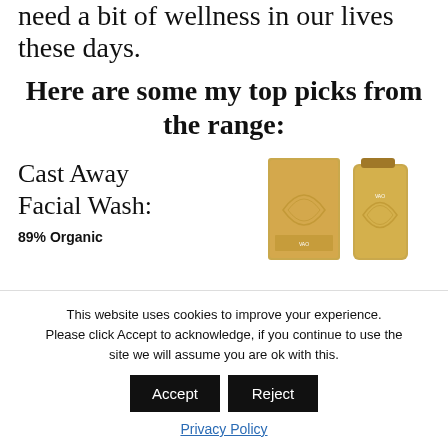need a bit of wellness in our lives these days.
Here are some my top picks from the range:
Cast Away Facial Wash:
89% Organic
[Figure (photo): Two gold-colored product containers (a box and a tube) for Cast Away Facial Wash]
This website uses cookies to improve your experience. Please click Accept to acknowledge, if you continue to use the site we will assume you are ok with this.
Accept  Reject
Privacy Policy